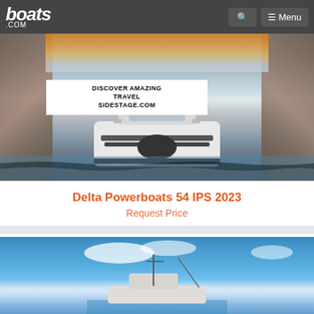boats.com — Q (search) — ☰ Menu
[Figure (photo): Advertisement overlay reading DISCOVER AMAZING TRAVEL SIDESTAGE.COM over a boat/water background image with rocky cliffs and sunset]
Delta Powerboats 54 IPS 2023
Request Price
[Figure (photo): Boat on open blue water with clouds and blue sky, partially visible at bottom of page]